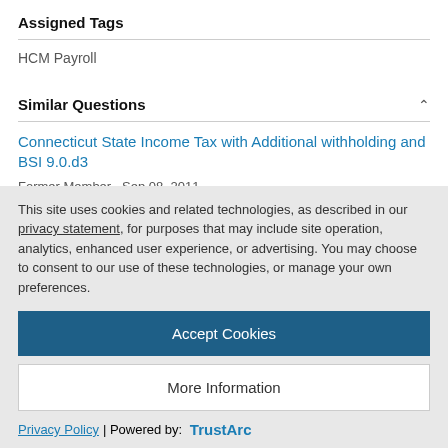Assigned Tags
HCM Payroll
Similar Questions
Connecticut State Income Tax with Additional withholding and BSI 9.0.d3
Former Member   Sep 08, 2011
This site uses cookies and related technologies, as described in our privacy statement, for purposes that may include site operation, analytics, enhanced user experience, or advertising. You may choose to consent to our use of these technologies, or manage your own preferences.
Accept Cookies
More Information
Privacy Policy | Powered by: TrustArc